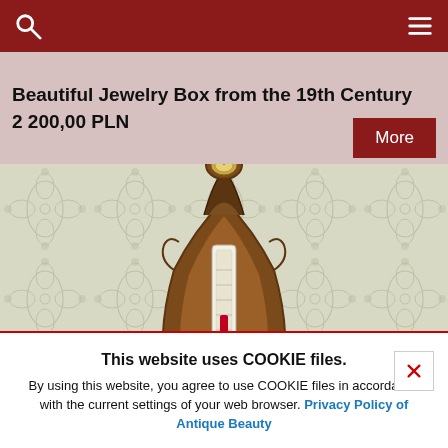Beautiful Jewelry Box from the 19th Century  2 200,00 PLN  More
[Figure (photo): Antique ornate barometer and thermometer wall piece with decorative carved wooden frame featuring bird motifs, displayed against a floral damask wallpaper background.]
This website uses COOKIE files.
By using this website, you agree to use COOKIE files in accordance with the current settings of your web browser. Privacy Policy of Antique Beauty